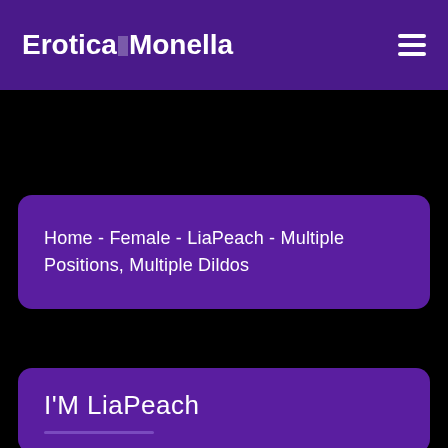EroticaMonella
Home - Female - LiaPeach - Multiple Positions, Multiple Dildos
I'M LiaPeach